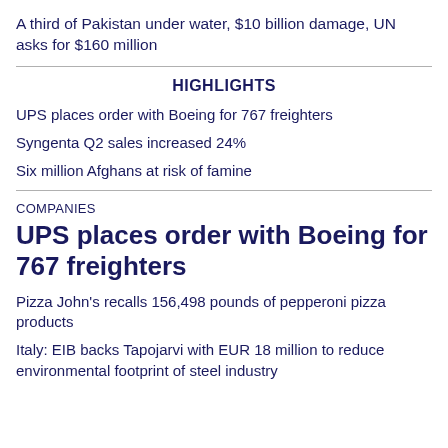A third of Pakistan under water, $10 billion damage, UN asks for $160 million
HIGHLIGHTS
UPS places order with Boeing for 767 freighters
Syngenta Q2 sales increased 24%
Six million Afghans at risk of famine
COMPANIES
UPS places order with Boeing for 767 freighters
Pizza John's recalls 156,498 pounds of pepperoni pizza products
Italy: EIB backs Tapojarvi with EUR 18 million to reduce environmental footprint of steel industry